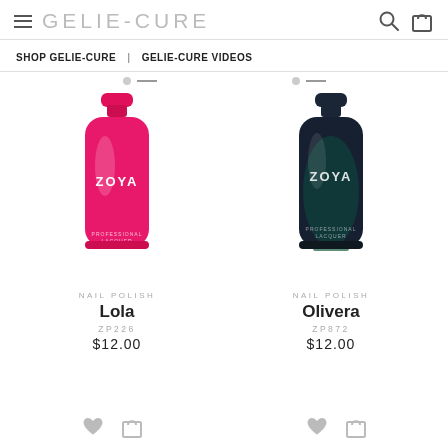GELIE-CURE
SHOP GELIE-CURE | GELIE-CURE VIDEOS
[Figure (photo): Pink Zoya nail polish bottle (Lola ZP226)]
NAIL POLISH
Lola
ZP226
$12.00
[Figure (photo): Dark teal/navy Zoya nail polish bottle (Olivera ZP872)]
NAIL POLISH
Olivera
ZP872
$12.00